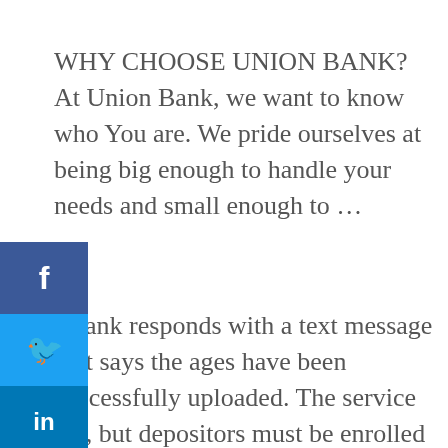WHY CHOOSE UNION BANK? At Union Bank, we want to know who You are. We pride ourselves at being big enough to handle your needs and small enough to ...
[Figure (other): Social media share buttons sidebar: Facebook (blue), Twitter (light blue), LinkedIn (dark blue), Pinterest (red), with a left-pointing collapse arrow below]
e bank responds with a text message that says the ages have been successfully uploaded. The service ree, but depositors must be enrolled in Chase's ine ... Credit Union of Marlborough, Mass ...
You are about to visit a site not owned by America First Credit Union. Please note that America First is not responsible for any information, content, ...
Start saving today and see how much your money can